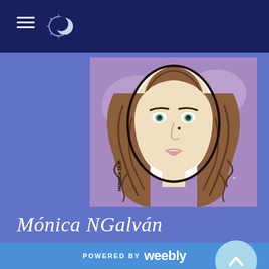[Figure (illustration): Hand-drawn fantasy illustration of a woman with long curly brown hair and light green eyes on a purple watercolor background, signed 'MONICA 1ER' in the lower left]
Mónica NGalván
Monica is a teacher, writer and fantasy illustrator t… works as web designer for a living. She uses ink for both
POWERED BY weebly